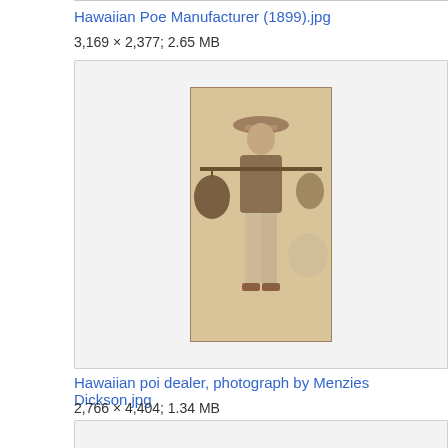Hawaiian Poe Manufacturer (1899).jpg
3,169 × 2,377; 2.65 MB
[Figure (photo): Sepia photograph of a Hawaiian poi dealer carrying baskets on a pole across shoulders, historical photo circa 1899]
Hawaiian poi dealer, photograph by Menzies Dickson.jpg
2,766 × 4,404; 1.34 MB
[Figure (photo): Photograph of poi in a bowl - a purple-grey paste in a light colored bowl]